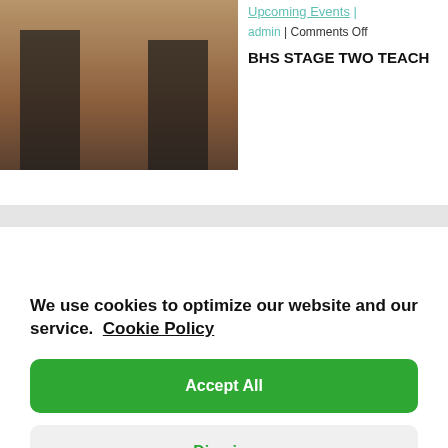[Figure (photo): Photo of a person standing next to a chestnut horse in an outdoor arena with sandy ground]
Upcoming Events | admin | Comments Off
BHS STAGE TWO TEACH
We use cookies to optimize our website and our service.  Cookie Policy
Accept All
Dismiss
Preferences